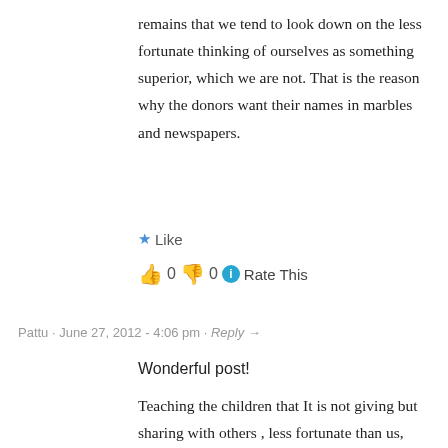remains that we tend to look down on the less fortunate thinking of ourselves as something superior, which we are not. That is the reason why the donors want their names in marbles and newspapers.
★ Like
👍 0 👎 0 ℹ Rate This
Pattu · June 27, 2012 - 4:06 pm · Reply→
Wonderful post!
Teaching the children that It is not giving but sharing with others , less fortunate than us, will